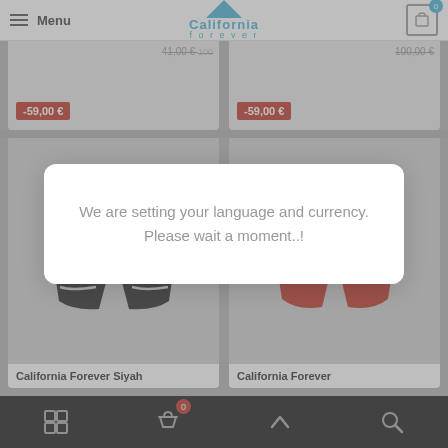Menu | California Forever | Cart (0)
[Figure (screenshot): Top partial product cards showing price badges: -59,00 € and -59,00 €]
[Figure (photo): Black striped swim shorts - California Forever Siyah]
[Figure (photo): Red swim shorts - California Forever]
California Forever Siyah
California Forever
We are setting your language and currency. Please wait a moment..!
Navigation bar with grid, basket (0), scroll-up, and search icons